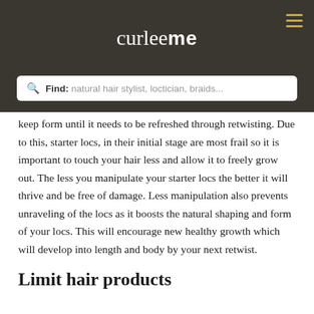curleeme
Find: natural hair stylist, loctician, braids...
keep form until it needs to be refreshed through retwisting. Due to this, starter locs, in their initial stage are most frail so it is important to touch your hair less and allow it to freely grow out. The less you manipulate your starter locs the better it will thrive and be free of damage. Less manipulation also prevents unraveling of the locs as it boosts the natural shaping and form of your locs. This will encourage new healthy growth which will develop into length and body by your next retwist.
Limit hair products